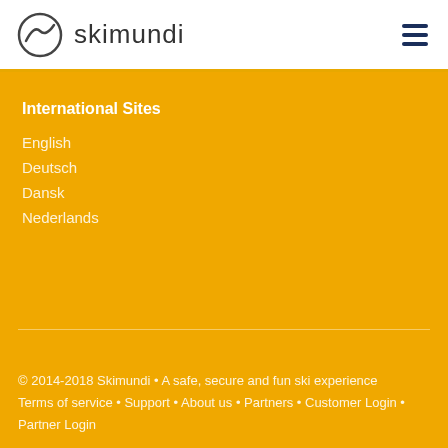skimundi
International Sites
English
Deutsch
Dansk
Nederlands
© 2014-2018 Skimundi • A safe, secure and fun ski experience
Terms of service • Support • About us • Partners • Customer Login • Partner Login